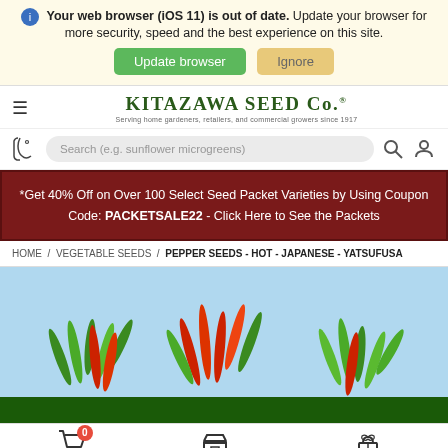Your web browser (iOS 11) is out of date. Update your browser for more security, speed and the best experience on this site. [Update browser] [Ignore]
[Figure (logo): Kitazawa Seed Co. logo with tagline]
Search (e.g. sunflower microgreens)
*Get 40% Off on Over 100 Select Seed Packet Varieties by Using Coupon Code: PACKETSALE22 - Click Here to See the Packets
HOME / VEGETABLE SEEDS / PEPPER SEEDS - HOT - JAPANESE - YATSUFUSA
[Figure (photo): Photo of red and green hot Japanese Yatsufusa pepper plants against a light blue sky background]
Cart  Shop  Rewards